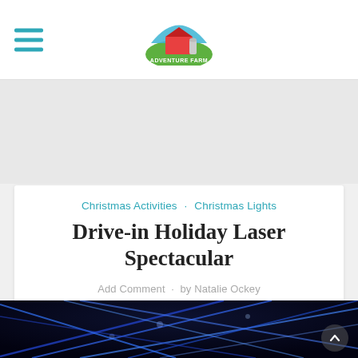Adventure Farm logo with hamburger menu
[Figure (photo): Dark blue laser light show with intersecting blue beams on black background, grade into light grey at bottom]
Christmas Activities · Christmas Lights
Drive-in Holiday Laser Spectacular
Add Comment · by Natalie Ockey